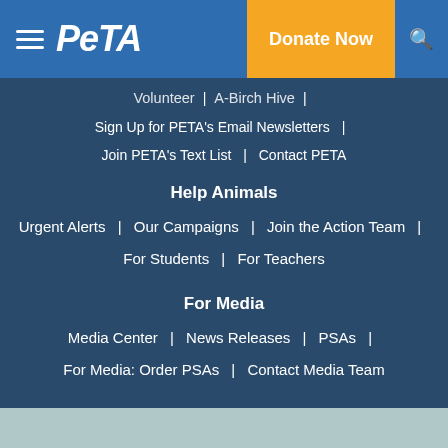PETA | Donate Now
Volunteer | A-Birch Hive | Sign Up for PETA's Email Newsletters | Join PETA's Text List | Contact PETA
Help Animals
Urgent Alerts | Our Campaigns | Join the Action Team | For Students | For Teachers
For Media
Media Center | News Releases | PSAs | For Media: Order PSAs | Contact Media Team
Support PETA
Become a Member | Make a Monthly Gift | Make a Memorial Gift | Make an Honorary Gift | Make a Stock Gift | ...